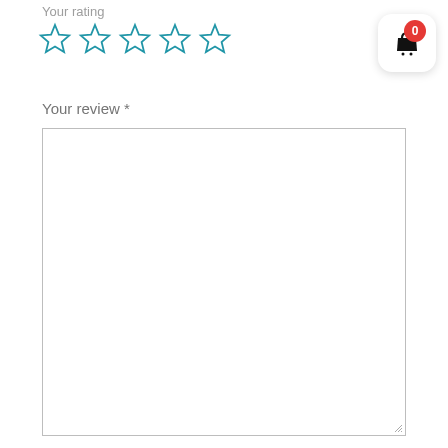Your rating
[Figure (illustration): Five empty star rating icons in blue outline style]
[Figure (illustration): Shopping basket widget with red badge showing 0]
Your review *
[Figure (other): Empty text area input box for review content with resize handle]